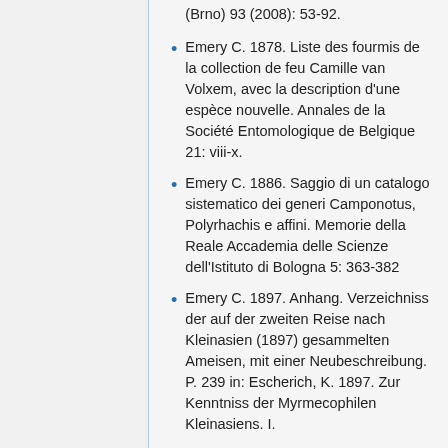(Brno) 93 (2008): 53-92.
Emery C. 1878. Liste des fourmis de la collection de feu Camille van Volxem, avec la description d'une espèce nouvelle. Annales de la Société Entomologique de Belgique 21: viii-x.
Emery C. 1886. Saggio di un catalogo sistematico dei generi Camponotus, Polyrhachis e affini. Memorie della Reale Accademia delle Scienze dell'Istituto di Bologna 5: 363-382
Emery C. 1897. Anhang. Verzeichniss der auf der zweiten Reise nach Kleinasien (1897) gesammelten Ameisen, mit einer Neubeschreibung. P. 239 in: Escherich, K. 1897. Zur Kenntniss der Myrmecophilen Kleinasiens. I.